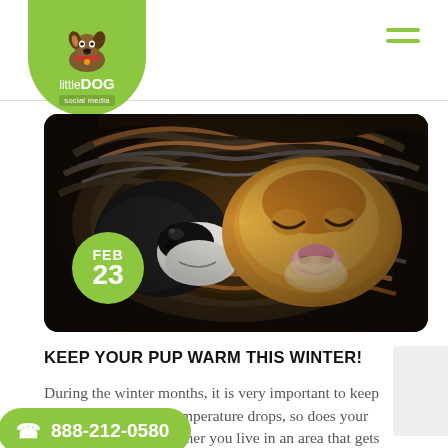[Figure (logo): Little DOG Social Media logo — green shield/badge shape with cartoon dog illustration, text 'little DOG social media']
[Figure (photo): Two dogs snuggled together inside a cozy knitted blanket tunnel, photographed close-up showing their noses and faces. A green circular date badge overlays the lower-left reading FEB 23.]
KEEP YOUR PUP WARM THIS WINTER!
During the winter months, it is very important to keep your pets healthy and warm. As the temperature drops, so does your pet's tolerance for cold. Whether you live in an area that gets a lot of snow or